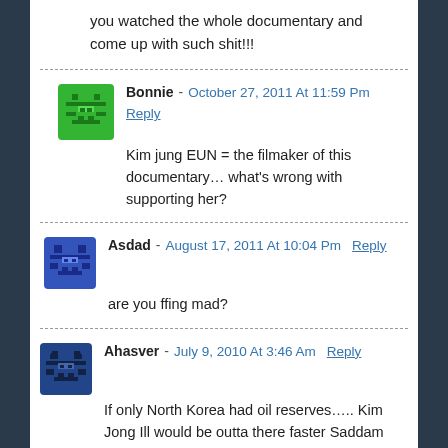you watched the whole documentary and come up with such shit!!!
Bonnie - October 27, 2011 At 11:59 Pm
Reply
Kim jung EUN = the filmaker of this documentary… what's wrong with supporting her?
Asdad - August 17, 2011 At 10:04 Pm Reply
are you ffing mad?
Ahasver - July 9, 2010 At 3:46 Am Reply
If only North Korea had oil reserves….. Kim Jong Ill would be outta there faster Saddam through a